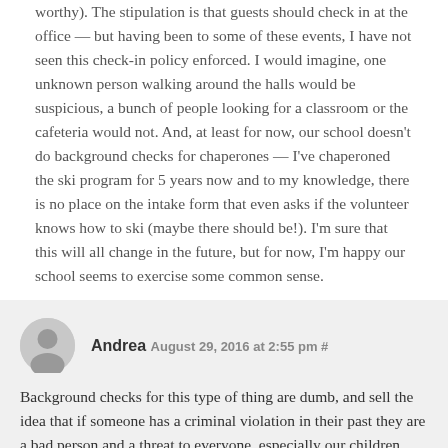worthy). The stipulation is that guests should check in at the office — but having been to some of these events, I have not seen this check-in policy enforced. I would imagine, one unknown person walking around the halls would be suspicious, a bunch of people looking for a classroom or the cafeteria would not. And, at least for now, our school doesn't do background checks for chaperones — I've chaperoned the ski program for 5 years now and to my knowledge, there is no place on the intake form that even asks if the volunteer knows how to ski (maybe there should be!). I'm sure that this will all change in the future, but for now, I'm happy our school seems to exercise some common sense.
Andrea August 29, 2016 at 2:55 pm #
Background checks for this type of thing are dumb, and sell the idea that if someone has a criminal violation in their past they are a bad person and a threat to everyone, especially our children. What if a background check comes back for parent who had a drug and theft conviction 15 years